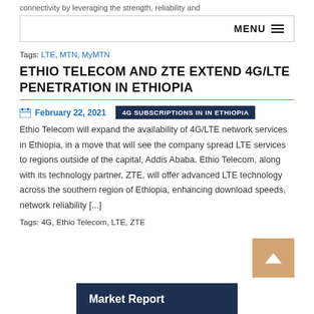connectivity by leveraging the strength, reliability and
MENU
Tags: LTE, MTN, MyMTN
ETHIO TELECOM AND ZTE EXTEND 4G/LTE PENETRATION IN ETHIOPIA
February 22, 2021   4G SUBSCRIPTIONS IN IN ETHIOPIA
Ethio Telecom will expand the availability of 4G/LTE network services in Ethiopia, in a move that will see the company spread LTE services to regions outside of the capital, Addis Ababa. Ethio Telecom, along with its technology partner, ZTE, will offer advanced LTE technology across the southern region of Ethiopia, enhancing download speeds, network reliability [...]
Tags: 4G, Ethio Telecom, LTE, ZTE
Market Report